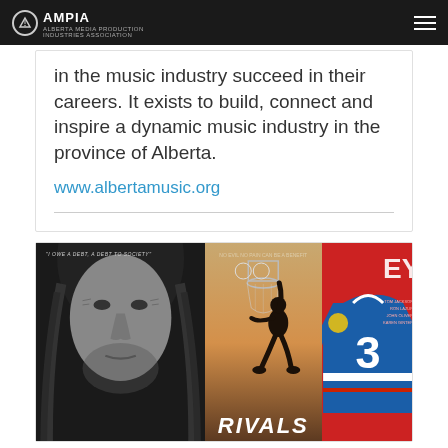AMPIA
in the music industry succeed in their careers. It exists to build, connect and inspire a dynamic music industry in the province of Alberta.
www.albertamusic.org
[Figure (photo): Three movie poster panels side by side: left panel shows a black and white close-up portrait of a heavily tattooed man with long hair and the quote 'I OWE A DEBT, A DEBT TO SOCIETY'; middle panel shows a silhouette of a basketball player dunking against an orange/brown sky background with text 'RIVALS'; right panel shows a red background with a hockey jersey displaying the number 3.]